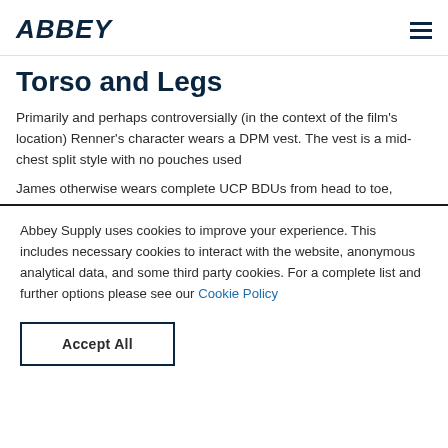ABBEY
Torso and Legs
Primarily and perhaps controversially (in the context of the film's location) Renner's character wears a DPM vest. The vest is a mid-chest split style with no pouches used
James otherwise wears complete UCP BDUs from head to toe,
Abbey Supply uses cookies to improve your experience. This includes necessary cookies to interact with the website, anonymous analytical data, and some third party cookies. For a complete list and further options please see our Cookie Policy
Accept All